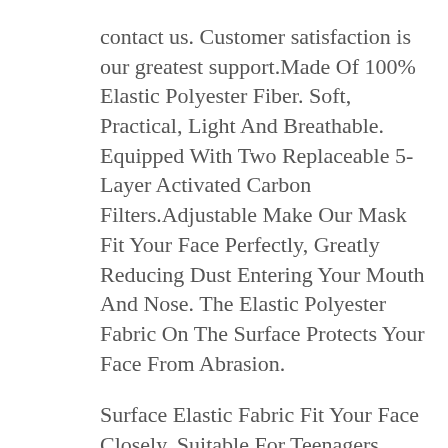contact us. Customer satisfaction is our greatest support.Made Of 100% Elastic Polyester Fiber. Soft, Practical, Light And Breathable. Equipped With Two Replaceable 5-Layer Activated Carbon Filters.Adjustable Make Our Mask Fit Your Face Perfectly, Greatly Reducing Dust Entering Your Mouth And Nose. The Elastic Polyester Fabric On The Surface Protects Your Face From Abrasion.
Surface Elastic Fabric Fit Your Face Closely. Suitable For Teenagers, Adults And The Elderly. The Ergonomic M-Shaped Nose Clip Design Effectively Isolates Dust And Harmful Substances From Entering Through The Gap.
With Adjustable Ear-loops Masks can not only bring your comfort, protect u from dust, Equipped with two replaceable 5-layer activated carbon filters, M-shaped nose clip for a comfortable fit,Allows for easy